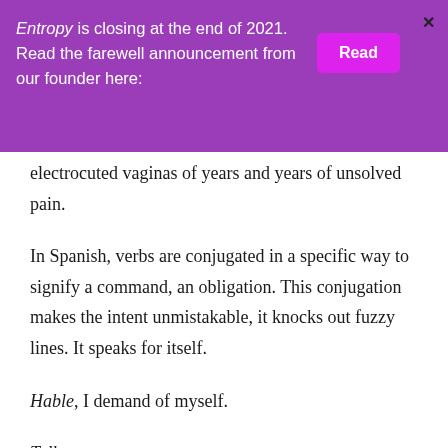Entropy is closing at the end of 2021. Read the farewell announcement from our founder here: [Read]
electrocuted vaginas of years and years of unsolved pain.
In Spanish, verbs are conjugated in a specific way to signify a command, an obligation. This conjugation makes the intent unmistakable, it knocks out fuzzy lines. It speaks for itself.
Hable, I demand of myself.
Talk.